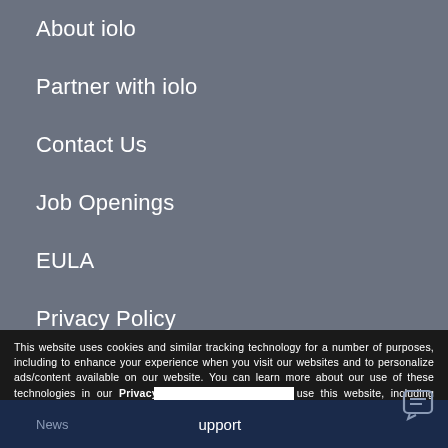About iolo
Partner with iolo
Contact Us
Job Openings
EULA
Privacy Policy
Sales Policy
Opt-out
This website uses cookies and similar tracking technology for a number of purposes, including to enhance your experience when you visit our websites and to personalize ads/content available on our website. You can learn more about our use of these technologies in our Privacy Policy. By continuing to use this website, including clicking off or closing this banner, you consent to the use of these technologies by this website.
ACCEPT
News  upport